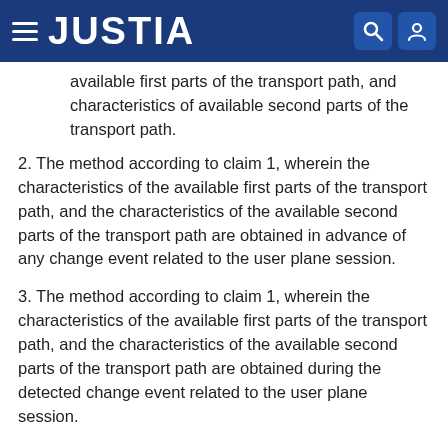JUSTIA
available first parts of the transport path, and characteristics of available second parts of the transport path.
2. The method according to claim 1, wherein the characteristics of the available first parts of the transport path, and the characteristics of the available second parts of the transport path are obtained in advance of any change event related to the user plane session.
3. The method according to claim 1, wherein the characteristics of the available first parts of the transport path, and the characteristics of the available second parts of the transport path are obtained during the detected change event related to the user plane session.